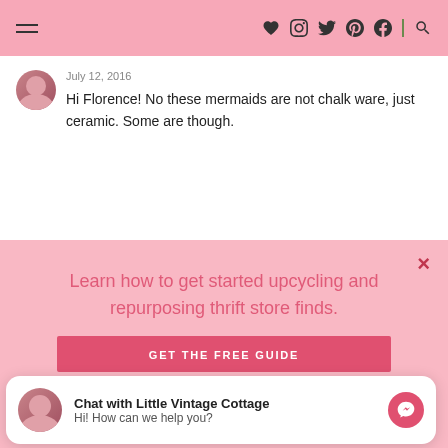Navigation header with hamburger menu and social icons (heart, Instagram, Twitter, Pinterest, Facebook, search)
July 12, 2016
Hi Florence! No these mermaids are not chalk ware, just ceramic. Some are though.
Learn how to get started upcycling and repurposing thrift store finds.
GET THE FREE GUIDE
Chat with Little Vintage Cottage
Hi! How can we help you?